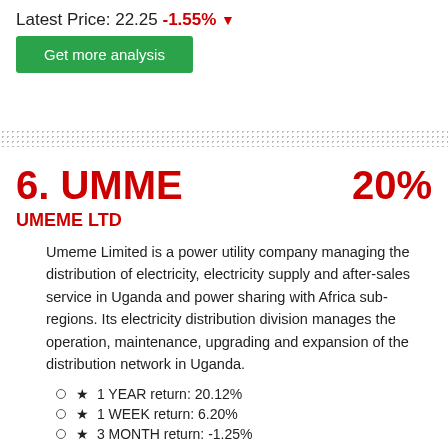Latest Price: 22.25 -1.55% ▼
Get more analysis
6. UMME   20%
UMEME LTD
Umeme Limited is a power utility company managing the distribution of electricity, electricity supply and after-sales service in Uganda and power sharing with Africa sub-regions. Its electricity distribution division manages the operation, maintenance, upgrading and expansion of the distribution network in Uganda.
★ 1 YEAR return: 20.12%
★ 1 WEEK return: 6.20%
★ 3 MONTH return: -1.25%